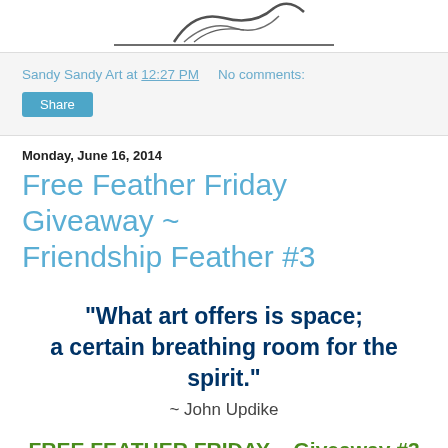[Figure (illustration): Partial view of a logo or artwork with black curves/lines on white background, cropped at top]
Sandy Sandy Art at 12:27 PM   No comments:
Share
Monday, June 16, 2014
Free Feather Friday Giveaway ~ Friendship Feather #3
"What art offers is space; a certain breathing room for the spirit." ~ John Updike
FREE FEATHER FRIDAY ~ Giveaway #3